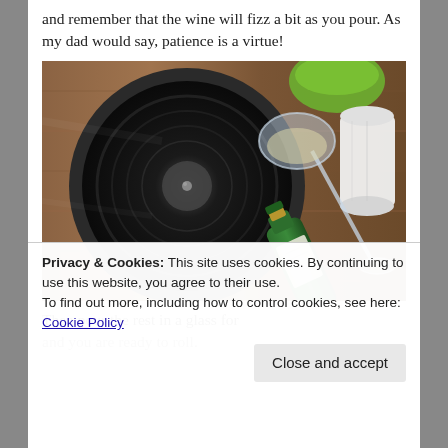and remember that the wine will fizz a bit as you pour. As my dad would say, patience is a virtue!
[Figure (photo): A spinning record player turntable with a wine bottle and wine glass on it, with a green bowl in the background and a white cylindrical object to the right. Shot from above at an angle showing motion blur.]
Then pour the rest in a glass for
Privacy & Cookies: This site uses cookies. By continuing to use this website, you agree to their use.
To find out more, including how to control cookies, see here: Cookie Policy
and you are ready to roll.